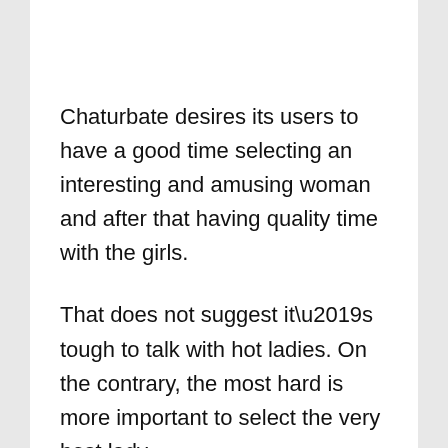Chaturbate desires its users to have a good time selecting an interesting and amusing woman and after that having quality time with the girls.
That does not suggest it’s tough to talk with hot ladies. On the contrary, the most hard is more important to select the very best lady.
How to have a good time with